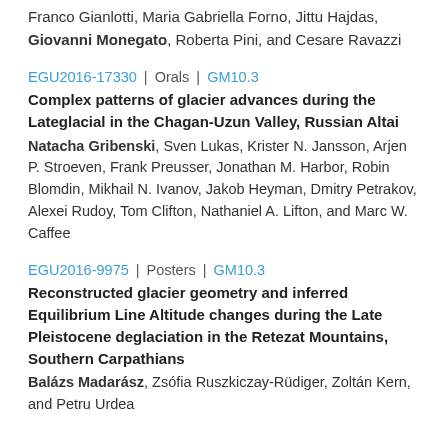Franco Gianlotti, Maria Gabriella Forno, Jittu Hajdas, Giovanni Monegato, Roberta Pini, and Cesare Ravazzi
EGU2016-17330 | Orals | GM10.3
Complex patterns of glacier advances during the Lateglacial in the Chagan-Uzun Valley, Russian Altai
Natacha Gribenski, Sven Lukas, Krister N. Jansson, Arjen P. Stroeven, Frank Preusser, Jonathan M. Harbor, Robin Blomdin, Mikhail N. Ivanov, Jakob Heyman, Dmitry Petrakov, Alexei Rudoy, Tom Clifton, Nathaniel A. Lifton, and Marc W. Caffee
EGU2016-9975 | Posters | GM10.3
Reconstructed glacier geometry and inferred Equilibrium Line Altitude changes during the Late Pleistocene deglaciation in the Retezat Mountains, Southern Carpathians
Balázs Madarász, Zsófia Ruszkiczay-Rüdiger, Zoltán Kern, and Petru Urdea